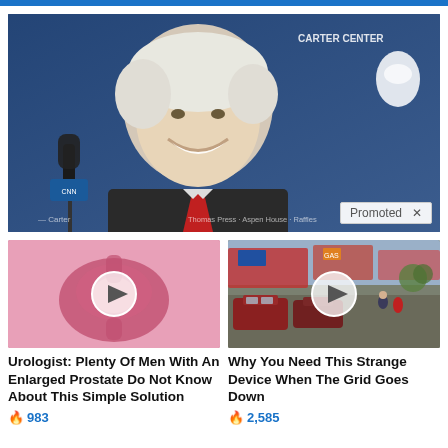[Figure (photo): Elderly smiling man with white hair at a press conference, blue background with 'Carter Center' text, microphone in foreground]
Promoted X
[Figure (photo): Medical illustration of prostate gland with video play button overlay]
Urologist: Plenty Of Men With An Enlarged Prostate Do Not Know About This Simple Solution
983
[Figure (photo): Street scene with cars and pedestrians, video play button overlay]
Why You Need This Strange Device When The Grid Goes Down
2,585